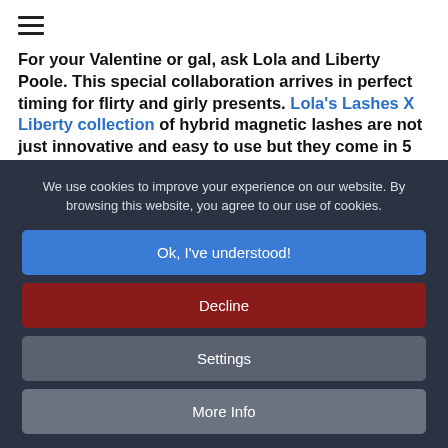≡
For your Valentine or gal, ask Lola and Liberty Poole. This special collaboration arrives in perfect timing for flirty and girly presents. Lola's Lashes X Liberty collection of hybrid magnetic lashes are not just innovative and easy to use but they come in 5 styles and a wide array of sets. In a wink, you just need to pick one and wrap it for a successful present.
We use cookies to improve your experience on our website. By browsing this website, you agree to our use of cookies.
Ok, I've understood!
Decline
Settings
More Info